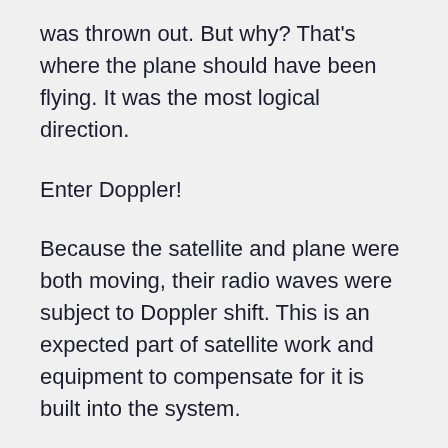was thrown out. But why? That’s where the plane should have been flying. It was the most logical direction.
Enter Doppler!
Because the satellite and plane were both moving, their radio waves were subject to Doppler shift. This is an expected part of satellite work and equipment to compensate for it is built into the system.
The (excerpt technique analysed the